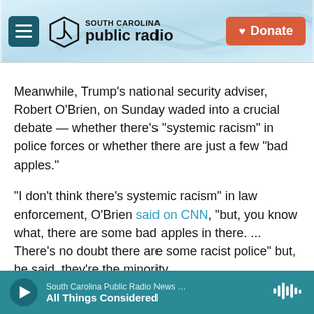[Figure (logo): South Carolina Public Radio website header with hamburger menu button, SC Public Radio logo, and red Donate button]
Meanwhile, Trump's national security adviser, Robert O'Brien, on Sunday waded into a crucial debate — whether there's "systemic racism" in police forces or whether there are just a few "bad apples."
"I don't think there's systemic racism" in law enforcement, O'Brien said on CNN, "but, you know what, there are some bad apples in there. ... There's no doubt there are some racist police" but, he said, they're the minority.
America is a divided — (partially visible)
[Figure (screenshot): Audio player bar at bottom showing South Carolina Public Radio News / All Things Considered with play button and waveform icon]